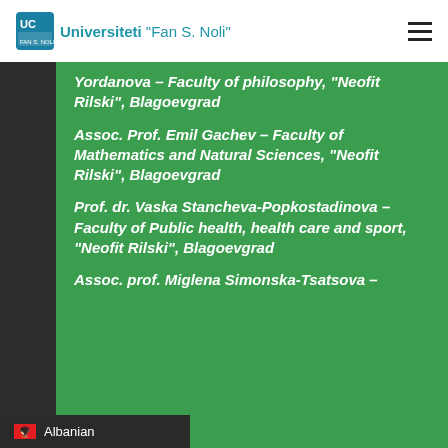Universiteti "Fan S. Noli"
Yordanova – Faculty of philosophy, “Neofit Rilski”, Blagoevgrad
Assoc. Prof. Emil Gachev – Faculty of Mathematics and Natural Sciences, “Neofit Rilski”, Blagoevgrad
Prof. dr. Vaska Stancheva-Popkostadinova – Faculty of Public health, health care and sport, “Neofit Rilski”, Blagoevgrad
Assoc. prof. Miglena Simonska-Tsatsova –